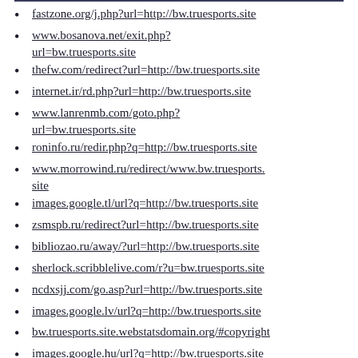fastzone.org/j.php?url=http://bw.truesports.site
www.bosanova.net/exit.php?url=bw.truesports.site
thefw.com/redirect?url=http://bw.truesports.site
internet.ir/rd.php?url=http://bw.truesports.site
www.lanrenmb.com/goto.php?url=bw.truesports.site
roninfo.ru/redir.php?q=http://bw.truesports.site
www.morrowind.ru/redirect/www.bw.truesports.site
images.google.tl/url?q=http://bw.truesports.site
zsmspb.ru/redirect?url=http://bw.truesports.site
bibliozao.ru/away/?url=http://bw.truesports.site
sherlock.scribblelive.com/r?u=bw.truesports.site
ncdxsjj.com/go.asp?url=http://bw.truesports.site
images.google.lv/url?q=http://bw.truesports.site
bw.truesports.site.webstatsdomain.org/#copyright
images.google.hu/url?q=http://bw.truesports.site
images.google.by/url?q=http://bw.truesports.site